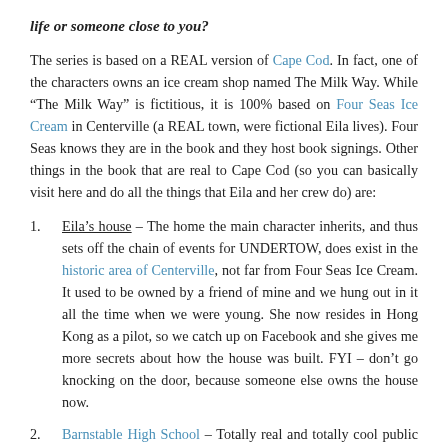life or someone close to you?
The series is based on a REAL version of Cape Cod. In fact, one of the characters owns an ice cream shop named The Milk Way. While “The Milk Way” is fictitious, it is 100% based on Four Seas Ice Cream in Centerville (a REAL town, were fictional Eila lives). Four Seas knows they are in the book and they host book signings. Other things in the book that are real to Cape Cod (so you can basically visit here and do all the things that Eila and her crew do) are:
Eila’s house – The home the main character inherits, and thus sets off the chain of events for UNDERTOW, does exist in the historic area of Centerville, not far from Four Seas Ice Cream. It used to be owned by a friend of mine and we hung out in it all the time when we were young. She now resides in Hong Kong as a pilot, so we catch up on Facebook and she gives me more secrets about how the house was built. FYI – don’t go knocking on the door, because someone else owns the house now.
Barnstable High School – Totally real and totally cool public high school that does some crazy thing. The students and faculty know they are